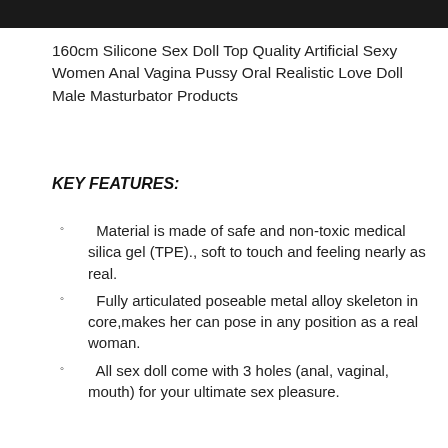[Figure (photo): Partial dark/black image bar at top of page]
160cm Silicone Sex Doll Top Quality Artificial Sexy Women Anal Vagina Pussy Oral Realistic Love Doll Male Masturbator Products
KEY FEATURES:
Material is made of safe and non-toxic medical silica gel (TPE)., soft to touch and feeling nearly as real.
Fully articulated poseable metal alloy skeleton in core,makes her can pose in any position as a real woman.
All sex doll come with 3 holes (anal, vaginal, mouth) for your ultimate sex pleasure.